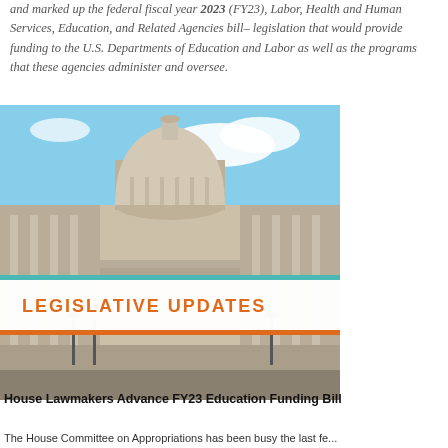and marked up the federal fiscal year 2023 (FY23), Labor, Health and Human Services, Education, and Related Agencies bill–legislation that would provide funding to the U.S. Departments of Education and Labor as well as the programs that these agencies administer and oversee.
[Figure (photo): Photograph of the U.S. Capitol building with blue sky, showing the dome and neoclassical columns. Overlaid with a 'LEGISLATIVE UPDATES' banner in orange text on a semi-transparent white background, framed by teal and orange horizontal lines.]
House Lawmakers Advance FY23 Education Funding Bill
The House Committee on Appropriations has been busy the last fe...